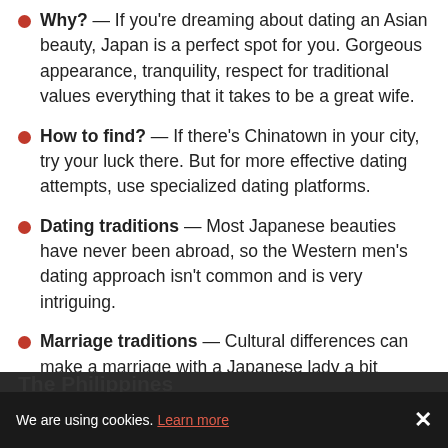Why? — If you're dreaming about dating an Asian beauty, Japan is a perfect spot for you. Gorgeous appearance, tranquility, respect for traditional values everything that it takes to be a great wife.
How to find? — If there's Chinatown in your city, try your luck there. But for more effective dating attempts, use specialized dating platforms.
Dating traditions — Most Japanese beauties have never been abroad, so the Western men's dating approach isn't common and is very intriguing.
Marriage traditions — Cultural differences can make a marriage with a Japanese lady a bit challenging, as local wedding traditions are still followed and very popular.
The Philippines
We are using cookies. Learn more